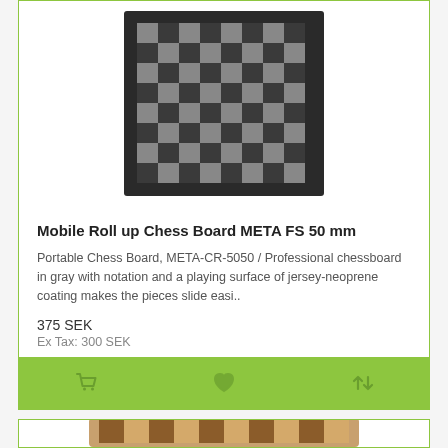[Figure (photo): Top-down view of a dark gray/black roll-up chess board with alternating light and dark squares and border notation]
Mobile Roll up Chess Board META FS 50 mm
Portable Chess Board, META-CR-5050 / Professional chessboard in gray with notation and a playing surface of jersey-neoprene coating makes the pieces slide easi..
375 SEK
Ex Tax: 300 SEK
[Figure (photo): Partial view of a wooden chess board with walnut/maple alternating squares visible from an angle, bottom of page]